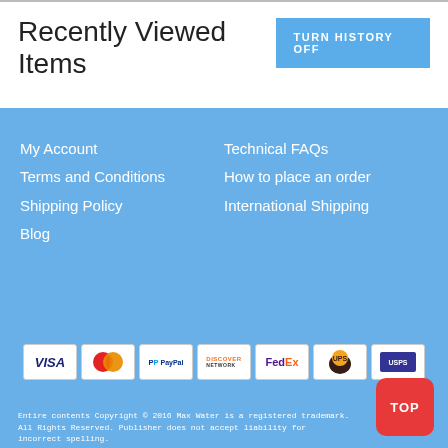Recently Viewed Items
TURN HISTORY OFF
My Account
Terms and Conditions
Shipping Policy
Blog
Technical FAQs
How to place an order
International Shipping
[Figure (logo): Payment method logos: Visa, MasterCard, PayPal, Discover, FedEx, UPS, USPS]
TOP
Entire contents Copyright © 2016 Max Water is a registered trademark. All Rights Reserved. Publisher does not accept liability for incorrect spelling.